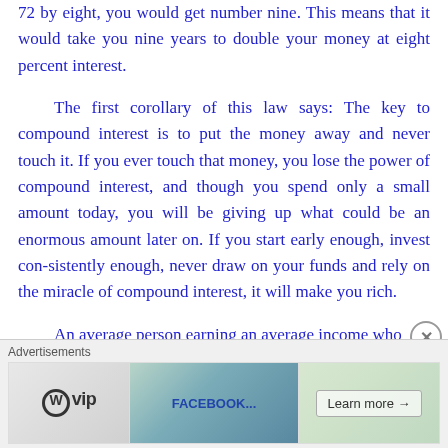72 by eight, you would get number nine. This means that it would take you nine years to double your money at eight percent interest.
The first corollary of this law says: The key to compound interest is to put the money away and never touch it. If you ever touch that money, you lose the power of compound interest, and though you spend only a small amount today, you will be giving up what could be an enormous amount later on. If you start early enough, invest con-sistently enough, never draw on your funds and rely on the miracle of compound interest, it will make you rich.
An average person earning an average income who
[Figure (other): Advertisement banner with WordPress VIP logo, Facebook-related imagery, and a 'Learn more' button]